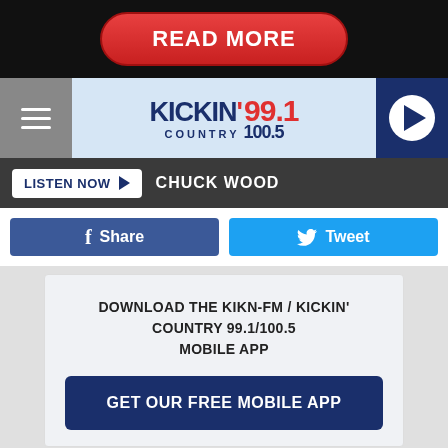[Figure (screenshot): Red rounded button with white bold text READ MORE on black background]
[Figure (logo): Kickin' Country 99.1 / 100.5 radio station logo in navigation bar with hamburger menu and play button]
LISTEN NOW ▶  CHUCK WOOD
[Figure (screenshot): Facebook Share button (dark blue) and Twitter Tweet button (light blue)]
DOWNLOAD THE KIKN-FM / KICKIN' COUNTRY 99.1/100.5 MOBILE APP
[Figure (screenshot): Dark blue button: GET OUR FREE MOBILE APP]
"It was just such an honor being here," said a still-buzzing Cyrus, who was clad in a leather jacket, jeans and a cowboy